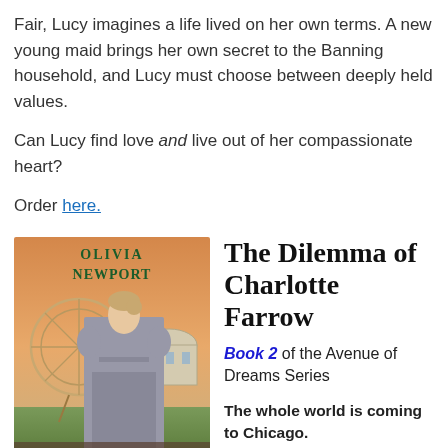Fair, Lucy imagines a life lived on her own terms. A new young maid brings her own secret to the Banning household, and Lucy must choose between deeply held values.
Can Lucy find love and live out of her compassionate heart?
Order here.
[Figure (photo): Book cover of 'The Dilemma of Charlotte Farrow' by Olivia Newport, showing a Victorian-era woman in a grey dress with a Ferris wheel and domed building in the background]
The Dilemma of Charlotte Farrow
Book 2 of the Avenue of Dreams Series
The whole world is coming to Chicago.